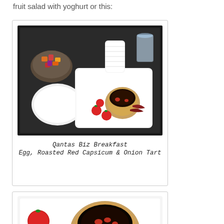fruit salad with yoghurt or this:
[Figure (photo): Qantas business class breakfast tray with egg, roasted red capsicum & onion tart on a white rectangular plate, accompanied by a fruit bowl, white plate, rolled napkin, and a glass of water. Caption reads: Qantas Biz Breakfast Egg, Roasted Red Capsicum & Onion Tart]
[Figure (photo): Close-up photo of egg, roasted red capsicum and onion tart on a white plate with cherry tomatoes, partially visible at bottom of page.]